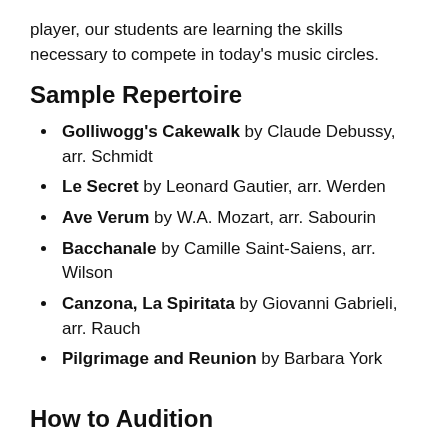player, our students are learning the skills necessary to compete in today's music circles.
Sample Repertoire
Golliwogg's Cakewalk by Claude Debussy, arr. Schmidt
Le Secret by Leonard Gautier, arr. Werden
Ave Verum by W.A. Mozart, arr. Sabourin
Bacchanale by Camille Saint-Saiens, arr. Wilson
Canzona, La Spiritata by Giovanni Gabrieli, arr. Rauch
Pilgrimage and Reunion by Barbara York
How to Audition